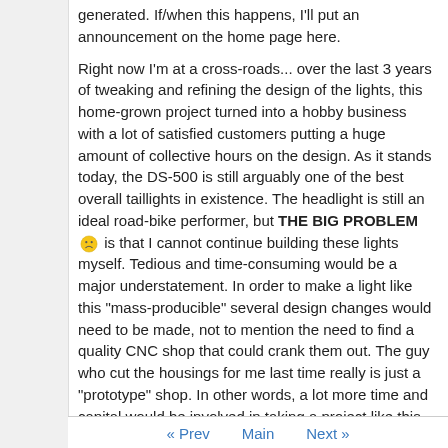generated. If/when this happens, I'll put an announcement on the home page here.
Right now I'm at a cross-roads... over the last 3 years of tweaking and refining the design of the lights, this home-grown project turned into a hobby business with a lot of satisfied customers putting a huge amount of collective hours on the design. As it stands today, the DS-500 is still arguably one of the best overall taillights in existence. The headlight is still an ideal road-bike performer, but THE BIG PROBLEM 😕 is that I cannot continue building these lights myself. Tedious and time-consuming would be a major understatement. In order to make a light like this "mass-producible" several design changes would need to be made, not to mention the need to find a quality CNC shop that could crank them out. The guy who cut the housings for me last time really is just a "prototype" shop. In other words, a lot more time and capital would be involved in taking a project like this to the next step. For now, at least, it looks like that ambition is going to have to wait.
Tags: None
Categories: Uncategorized
✉ Email Blog Entry
« Prev   Main   Next »